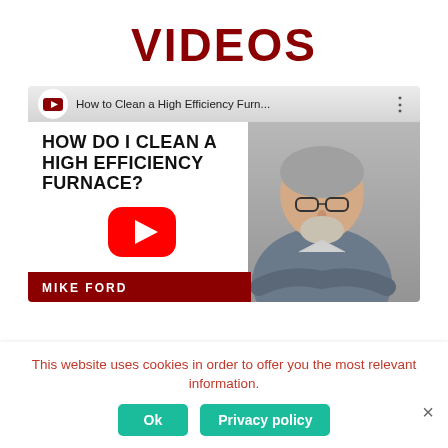VIDEOS
[Figure (screenshot): YouTube video thumbnail for 'How to Clean a High Efficiency Furn...' featuring text 'HOW DO I CLEAN A HIGH EFFICIENCY FURNACE?' with a YouTube play button and a man named Mike Ford with crossed arms on the right side. A crimson brand logo appears in the top-left corner of the video player.]
This website uses cookies in order to offer you the most relevant information.
Ok
Privacy policy